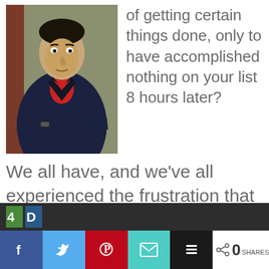[Figure (photo): Man in dark navy blazer and red shirt, arms crossed, professional headshot style photo]
of getting certain things done, only to have accomplished nothing on your list 8 hours later?
We all have, and we’ve all experienced the frustration that comes along with a workday like that.
Share buttons: Facebook, Twitter, Pinterest, Email, Buffer. 0 SHARES